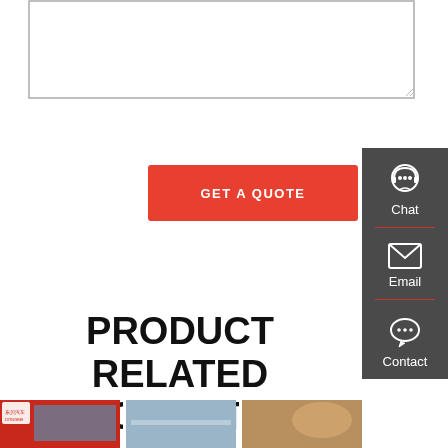[Figure (screenshot): Empty textarea input box with resize handle at bottom-right corner]
GET A QUOTE
[Figure (infographic): Dark gray sidebar with three contact options: Chat (headset icon), Email (envelope icon), Contact (speech bubble icon), separated by red dividers]
PRODUCT RELATED INFORMATION
[Figure (photo): Partial view of product-related images at the bottom of the page including a red banner with Chinese text and vehicle/product imagery]